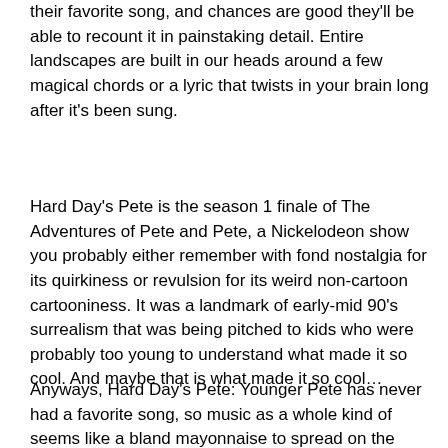their favorite song, and chances are good they'll be able to recount it in painstaking detail. Entire landscapes are built in our heads around a few magical chords or a lyric that twists in your brain long after it's been sung.
Hard Day's Pete is the season 1 finale of The Adventures of Pete and Pete, a Nickelodeon show you probably either remember with fond nostalgia for its quirkiness or revulsion for its weird non-cartoon cartooniness. It was a landmark of early-mid 90's surrealism that was being pitched to kids who were probably too young to understand what made it so cool. And maybe that is what made it so cool…
Anyways, Hard Day's Pete: Younger Pete has never had a favorite song, so music as a whole kind of seems like a bland mayonnaise to spread on the sandwich of life. Then everything changes when he hears the sounds of Polaris (the band that